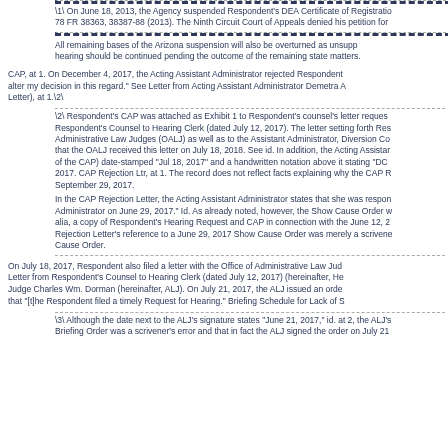\1\ On June 18, 2013, the Agency suspended Respondent's DEA Certificate of Registration, 78 FR 38363, 38387-88 (2013). The Ninth Circuit Court of Appeals denied his petition for
All remaining bases of the Arizona suspension will also be overturned as unsupported, the hearing should be continued pending the outcome of the remaining state matters.
CAP, at 1. On December 4, 2017, the Acting Assistant Administrator rejected Respondent's alter my decision in this regard." See Letter from Acting Assistant Administrator Demetra A Letter), at 1.\2\
\2\ Respondent's CAP was attached as Exhibit 1 to Respondent's counsel's letter requesting Respondent's Counsel to Hearing Clerk (dated July 12, 2017). The letter setting forth Res Administrative Law Judges (OALJ) as well as to the Assistant Administrator, Diversion Co that the OALJ received this letter on July 18, 2018. See id. In addition, the Acting Assistan of the CAP) date-stamped "Jul 18, 2017" and a handwritten notation above it stating "DC 2017. CAP Rejection Ltr, at 1. The record does not reflect facts explaining why the CAP R September 29, 2017.
In the CAP Rejection Letter, the Acting Assistant Administrator states that she was responsible Administrator on June 29, 2017." Id. As already noted, however, the Show Cause Order w alia, a copy of Respondent's Hearing Request and CAP in connection with the June 12, 2 Rejection Letter's reference to a June 29, 2017 Show Cause Order was merely a scrivener Cause Order.
On July 18, 2017, Respondent also filed a letter with the Office of Administrative Law Jud Letter from Respondent's Counsel to Hearing Clerk (dated July 12, 2017) (hereinafter, He Judge Charles Wm. Dorman (hereinafter, ALJ). On July 21, 2017, the ALJ issued an order that "[t]he Respondent filed a timely Request for Hearing." Briefing Schedule for Lack of S
\3\ Although the date next to the ALJ's signature states "June 21, 2017," id. at 2, the ALJ's Briefing Order was a scrivener's error and that in fact the ALJ signed the order on July 21